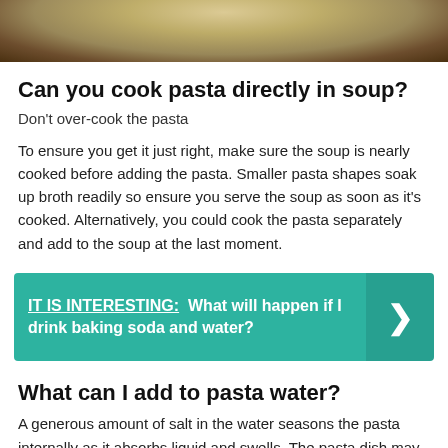[Figure (photo): Top portion of a bowl of pasta on a dark wooden background, partially visible]
Can you cook pasta directly in soup?
Don't over-cook the pasta
To ensure you get it just right, make sure the soup is nearly cooked before adding the pasta. Smaller pasta shapes soak up broth readily so ensure you serve the soup as soon as it's cooked. Alternatively, you could cook the pasta separately and add to the soup at the last moment.
[Figure (infographic): Teal callout box with text: IT IS INTERESTING: What will happen if I drink baking soda and water? with a right arrow on the right side]
What can I add to pasta water?
A generous amount of salt in the water seasons the pasta internally as it absorbs liquid and swells. The pasta dish may